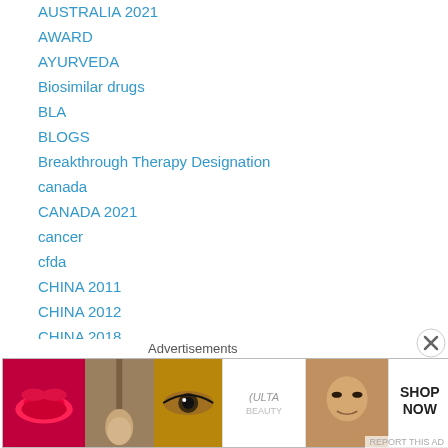AUSTRALIA 2021
AWARD
AYURVEDA
Biosimilar drugs
BLA
BLOGS
Breakthrough Therapy Designation
canada
CANADA 2021
cancer
cfda
CHINA 2011
CHINA 2012
CHINA 2018
china 2019
china pipeline
Advertisements
[Figure (photo): Ulta Beauty advertisement banner with cosmetics imagery including lips with red lipstick, makeup brush, eye with makeup, Ulta Beauty logo, close-up face, and SHOP NOW text]